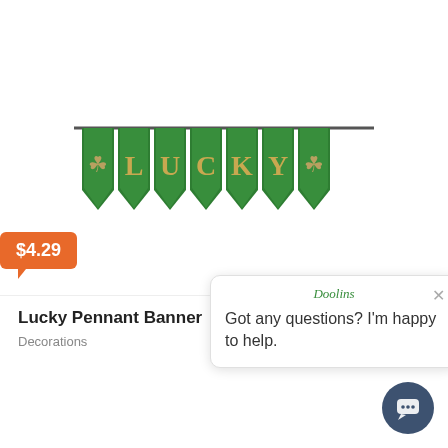[Figure (photo): St. Patrick's Day 'LUCKY' pennant banner with green triangular flags hanging on a rod, gold/tan lettering spelling LUCKY with shamrock decorations on end panels]
$4.29
Lucky Pennant Banner
Decorations
Info
[Figure (screenshot): Chat popup window with 'Doolins' brand name at top, close X button, and message: Got any questions? I'm happy to help.]
Got any questions? I'm happy to help.